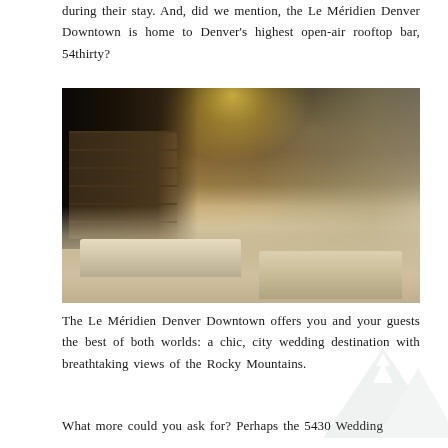during their stay. And, did we mention, the Le Méridien Denver Downtown is home to Denver's highest open-air rooftop bar, 54thirty?
[Figure (photo): Interior photo of Le Méridien Denver Downtown hotel lobby showing a sophisticated lounge area with a large chandelier, bar area on the left with shelving displays, modern seating with cream/white sofas and accent chairs, and floor-to-ceiling windows on the right side.]
The Le Méridien Denver Downtown offers you and your guests the best of both worlds: a chic, city wedding destination with breathtaking views of the Rocky Mountains.
What more could you ask for? Perhaps the 5430 Wedding